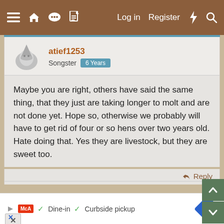≡  🏠  💬  📄    Log in  Register  ⚡  🔍
atief1253
Songster  6 Years
Maybe you are right, others have said the same thing, that they just are taking longer to molt and are not done yet. Hope so, otherwise we probably will have to get rid of four or so hens over two years old. Hate doing that. Yes they are livestock, but they are sweet too.
↩ Reply
[Figure (screenshot): Navigation scroll up and down green buttons]
[Figure (screenshot): Advertisement bar: McDonald's logo, Dine-in, Curbside pickup, blue diamond navigation icon]